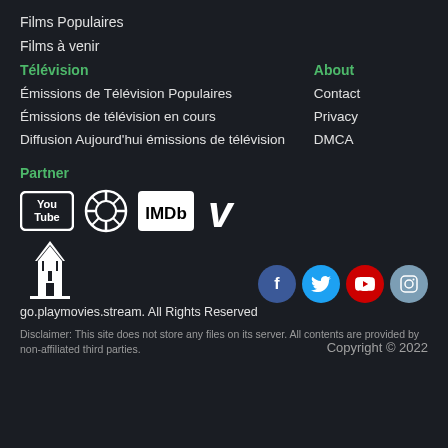Films Populaires
Films à venir
Télévision
About
Émissions de Télévision Populaires
Contact
Émissions de télévision en cours
Privacy
Diffusion Aujourd'hui émissions de télévision
DMCA
Partner
[Figure (logo): Partner logos: YouTube, Aperture/lens icon, IMDb, Vimeo V]
[Figure (logo): Social media icons: Facebook, Twitter, YouTube, Instagram]
[Figure (illustration): White building/skyscraper silhouette logo]
Copyright © 2022
go.playmovies.stream. All Rights Reserved
Disclaimer: This site does not store any files on its server. All contents are provided by non-affiliated third parties.